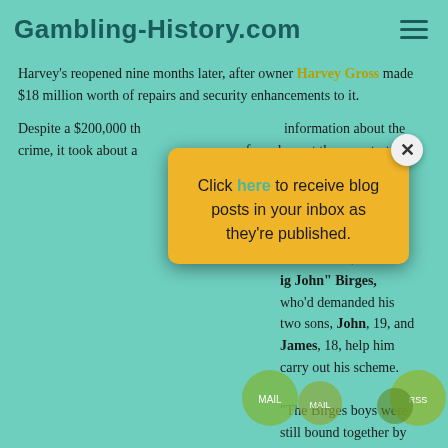Gambling-History.com
Harvey's reopened nine months later, after owner Harvey Gross made $18 million worth of repairs and security enhancements to it.
Despite a $200,000 th... information about the crime, it took about a ... ify and arrest the perpetrators.
[Figure (other): Yellow popup dialog with close button (X). Text reads: Click here to receive blog posts in your inbox as they're published.]
...e mastermind was a ...-year-old retired ...siness owner, János ...ig John" Birges, who'd demanded his two sons, John, 19, and James, 18, help him carry out his scheme.
"The Birges boys were still bound together by at least one thing...